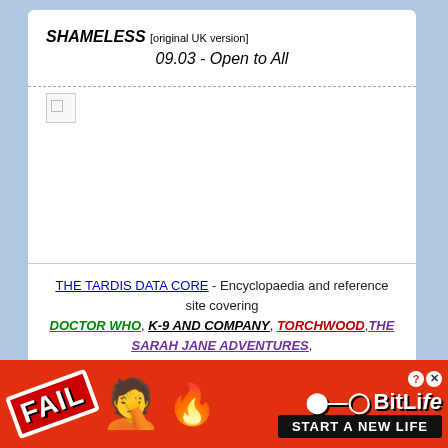SHAMELESS [original UK version]
09.03 - Open to All
[Figure (screenshot): Broken image placeholder icon]
THE TARDIS DATA CORE - Encyclopaedia and reference site covering DOCTOR WHO, K-9 AND COMPANY, TORCHWOOD, THE SARAH JANE ADVENTURES, K-9, CLASS and much more...
[Figure (photo): Promotional photo thumbnail with sci-fi characters on blue background card]
[Figure (infographic): BitLife advertisement banner: FAIL emoji flame graphics with START A NEW LIFE text]